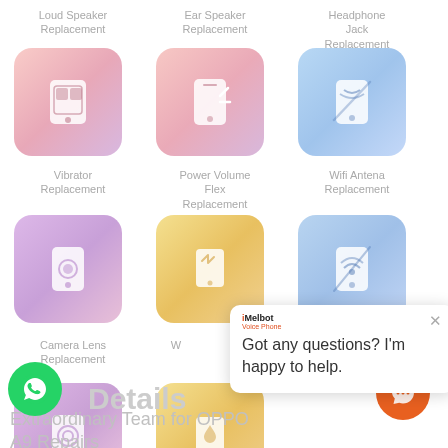[Figure (screenshot): Service repair options grid showing 6 icon cards: Loud Speaker Replacement (pink), Ear Speaker Replacement (pink), Headphone Jack Replacement (blue), Vibrator Replacement (purple), Power Volume Flex Replacement (yellow), Wifi Antena Replacement (blue), Camera Lens Replacement (purple)]
Details
Extraordinary Team for OPPO A9 Repairs
[Figure (screenshot): Chat popup overlay with iMelbot logo, close button, and message: Got any questions? I'm happy to help.]
[Figure (logo): Green WhatsApp circular button]
[Figure (logo): Orange chat circular button]